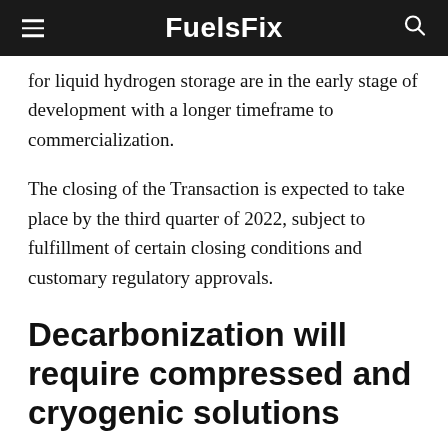FuelsFix
for liquid hydrogen storage are in the early stage of development with a longer timeframe to commercialization.
The closing of the Transaction is expected to take place by the third quarter of 2022, subject to fulfillment of certain closing conditions and customary regulatory approvals.
Decarbonization will require compressed and cryogenic solutions
LNG is a leading natural gas alternative in E... infrastructure network